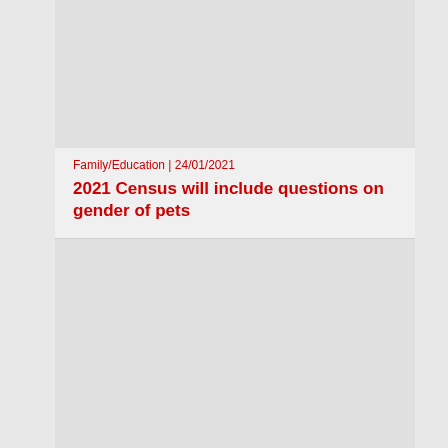[Figure (photo): Gray placeholder image for article thumbnail]
Family/Education | 24/01/2021
2021 Census will include questions on gender of pets
[Figure (photo): Gray placeholder image for second article thumbnail]
Politics | 22/01/2021
Biden tells Trump: ‘Please clear your stuff out of our bedroom’